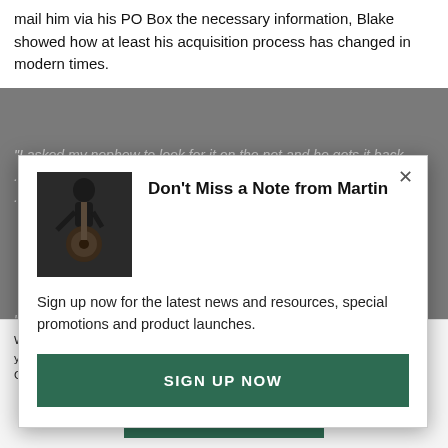mail him via his PO Box the necessary information, Blake showed how at least his acquisition process has changed in modern times.
Don't Miss a Note from Martin
Sign up now for the latest news and resources, special promotions and product launches.
SIGN UP NOW
We use cookies. By using our website and online services, you acknowledge that you understand and agree to our Privacy Policy, Shipping Policies, and Terms & Conditions of Sale.
YES